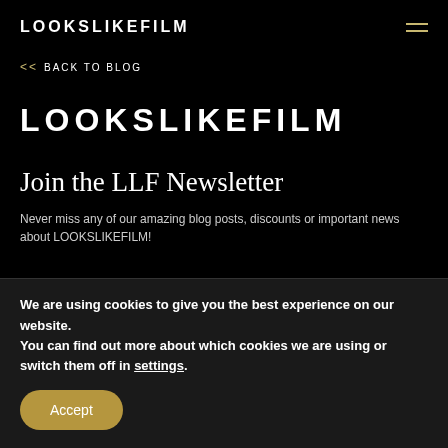LOOKSLIKEFILM
<< BACK TO BLOG
LOOKSLIKEFILM
Join the LLF Newsletter
Never miss any of our amazing blog posts, discounts or important news about LOOKSLIKEFILM!
We are using cookies to give you the best experience on our website.
You can find out more about which cookies we are using or switch them off in settings.
Accept